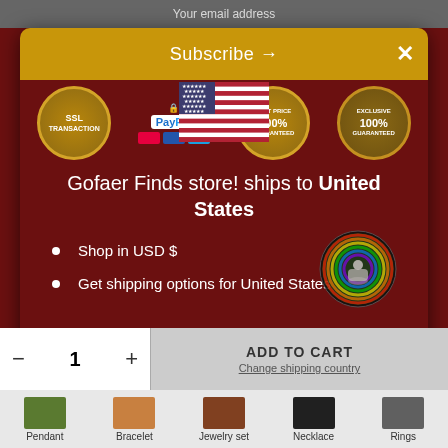Your email address
Subscribe →
[Figure (screenshot): US flag icon, trust/payment badges: SSL Transaction, PayPal, 100% Best Price Guaranteed, 100% Guaranteed]
Gofaer Finds store! ships to United States
Shop in USD $
Get shipping options for United States
[Figure (logo): Gofaer Finds circular meditation logo watermark in gold cursive]
Shop now
ADD TO CART
Change shipping country
Pendant
Bracelet
Jewelry set
Necklace
Rings